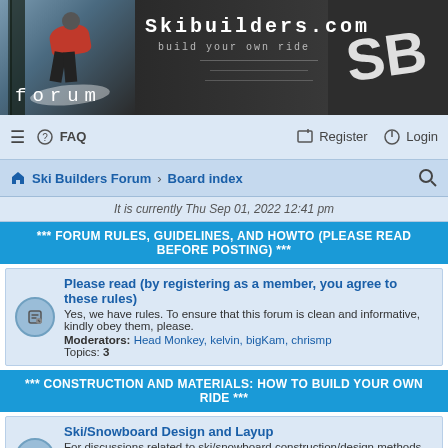[Figure (photo): Skibuilders.com forum banner with skier in red jacket on left, site title 'Skibuilders.com build your own ride' in monospace font center, logo 'SB' on right, word 'forum' bottom left]
≡  FAQ  Register  Login
Ski Builders Forum › Board index
It is currently Thu Sep 01, 2022 12:41 pm
*** FORUM RULES, GUIDELINES, AND HOWTO (PLEASE READ BEFORE POSTING) ***
Please read (by registering as a member, you agree to these rules)
Yes, we have rules. To ensure that this forum is clean and informative, kindly obey them, please.
Moderators: Head Monkey, kelvin, bigKam, chrismp
Topics: 3
*** CONSTRUCTION AND MATERIALS: HOW TO BUILD YOUR OWN RIDE ***
Ski/Snowboard Design and Layup
For discussions related to ski/snowboard construction/design methods and techniques.
Moderators: Head Monkey, kelvin, bigKam, skidesmond, chrismp
Topics: 1613